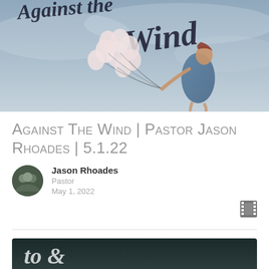[Figure (photo): Book/sermon cover image showing a woman in a blue dress holding white balloons being blown by the wind, with dark script text reading 'Against the Wind' overlaid on a grey sky background.]
Against The Wind | Pastor Jason Rhoades | 5.1.22
Jason Rhoades
Pastor
May 1, 2022
[Figure (photo): Partial bottom image with dark background, appears to be another sermon or related content thumbnail with white script text partially visible.]